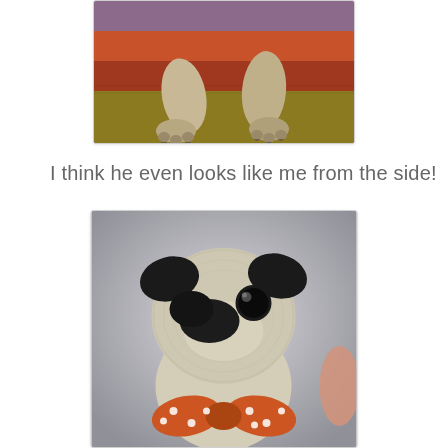[Figure (photo): Close-up photo of a dog's paws/legs lying on a colorful striped rug with orange, red, and yellow-green stripes]
I think he even looks like me from the side!
[Figure (photo): Close-up photo of a crocheted/knitted pug stuffed animal with black button eyes, black yarn nose markings, cream/beige yarn body, wearing an orange and white polka dot bow tie or collar]